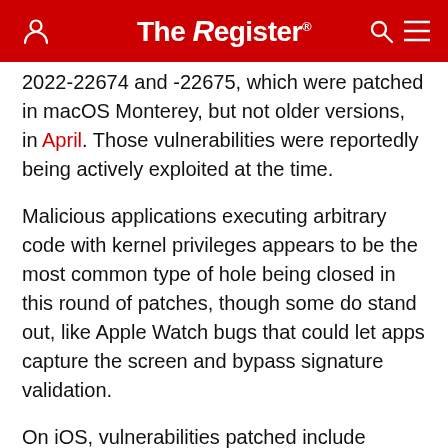The Register
2022-22674 and -22675, which were patched in macOS Monterey, but not older versions, in April. Those vulnerabilities were reportedly being actively exploited at the time.
Malicious applications executing arbitrary code with kernel privileges appears to be the most common type of hole being closed in this round of patches, though some do stand out, like Apple Watch bugs that could let apps capture the screen and bypass signature validation.
On iOS, vulnerabilities patched include websites being able to track users in Safari private browsing mode, while macOS users are being protected against apps